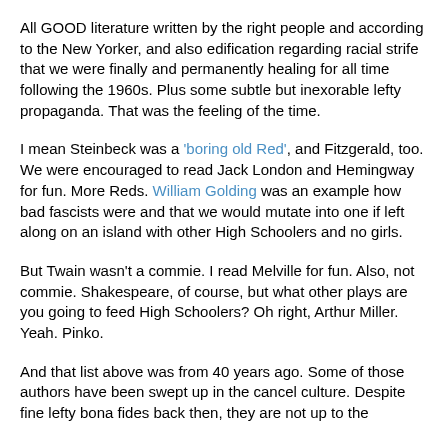All GOOD literature written by the right people and according to the New Yorker, and also edification regarding racial strife that we were finally and permanently healing for all time following the 1960s.  Plus some subtle but inexorable lefty propaganda.  That was the feeling of the time.
I mean Steinbeck was a 'boring old Red', and Fitzgerald, too.  We were encouraged to read Jack London and Hemingway for fun.  More Reds.  William Golding was an example how bad fascists were and that we would mutate into one if left along on an island with other High Schoolers and no girls.
But Twain wasn't a commie.  I read Melville for fun.  Also, not commie.  Shakespeare, of course, but what other plays are you going to feed High Schoolers?  Oh right, Arthur Miller.  Yeah.  Pinko.
And that list above was from 40 years ago.  Some of those authors have been swept up in the cancel culture.  Despite fine lefty bona fides back then, they are not up to the